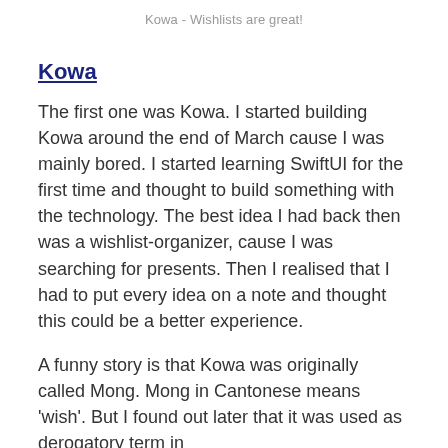Kowa - Wishlists are great!
Kowa
The first one was Kowa. I started building Kowa around the end of March cause I was mainly bored. I started learning SwiftUI for the first time and thought to build something with the technology. The best idea I had back then was a wishlist-organizer, cause I was searching for presents. Then I realised that I had to put every idea on a note and thought this could be a better experience.
A funny story is that Kowa was originally called Mong. Mong in Cantonese means 'wish'. But I found out later that it was used as derogatory term in